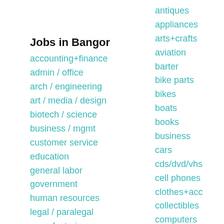Jobs in Bangor
accounting+finance
admin / office
arch / engineering
art / media / design
biotech / science
business / mgmt
customer service
education
general labor
government
human resources
legal / paralegal
manufacturing
marketing / pr / ad
medical / health
antiques
appliances
arts+crafts
aviation
barter
bike parts
bikes
boats
books
business
cars
cds/dvd/vhs
cell phones
clothes+acc
collectibles
computers
electronics
furniture